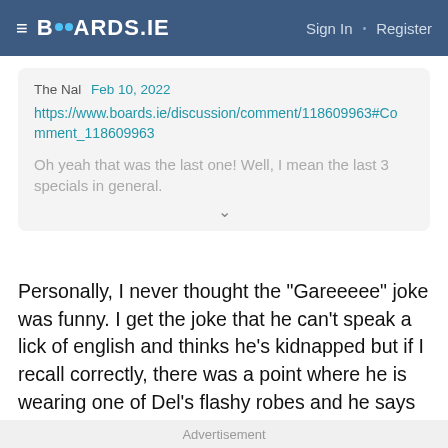≡ BOARDS.IE   Sign In · Register
The Nal  Feb 10, 2022
https://www.boards.ie/discussion/comment/118609963#Comment_118609963
Oh yeah that was the last one! Well, I mean the last 3 specials in general.
Personally, I never thought the "Gareeeee" joke was funny. I get the joke that he can't speak a lick of english and thinks he's kidnapped but if I recall correctly, there was a point where he is wearing one of Del's flashy robes and he says "gareeeeeee" a couple of times. Came off as special needs to be honest. Not the actors fault just stupidly written. At least to me anyways. Humor is subjective
Advertisement